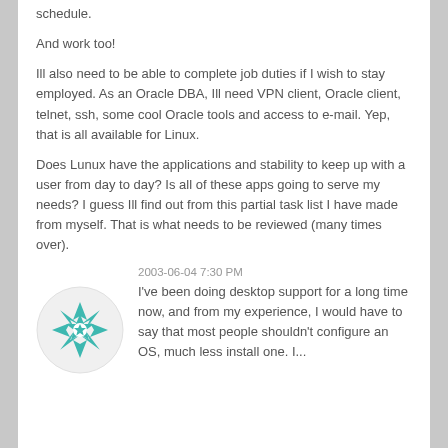schedule.
And work too!
Ill also need to be able to complete job duties if I wish to stay employed. As an Oracle DBA, Ill need VPN client, Oracle client, telnet, ssh, some cool Oracle tools and access to e-mail. Yep, that is all available for Linux.
Does Lunux have the applications and stability to keep up with a user from day to day? Is all of these apps going to serve my needs? I guess Ill find out from this partial task list I have made from myself. That is what needs to be reviewed (many times over).
2003-06-04 7:30 PM
[Figure (illustration): Teal/green geometric star pattern avatar icon on white circular background]
I've been doing desktop support for a long time now, and from my experience, I would have to say that most people shouldn't configure an OS, much less install one. I...